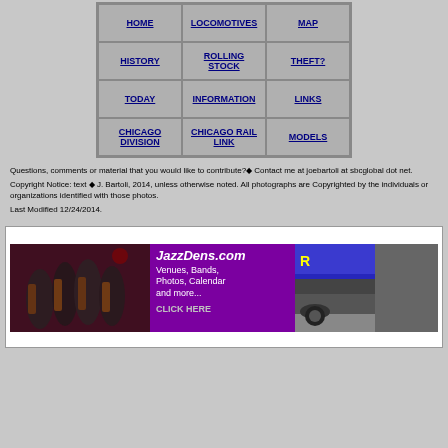| HOME | LOCOMOTIVES | MAP |
| HISTORY | ROLLING STOCK | THEFT? |
| TODAY | INFORMATION | LINKS |
| CHICAGO DIVISION | CHICAGO RAIL LINK | MODELS |
Questions, comments or material that you would like to contribute?◆ Contact me at joebartoli at sbcglobal dot net.
Copyright Notice: text ◆ J. Bartoli, 2014, unless otherwise noted. All photographs are Copyrighted by the individuals or organizations identified with those photos.
Last Modified 12/24/2014.
[Figure (photo): Advertisement banner for JazzDens.com showing jazz musicians playing saxophone on the left, purple banner with text 'JazzDens.com Venues, Bands, Photos, Calendar and more... CLICK HERE' in the middle, and a partial car photo on the right]